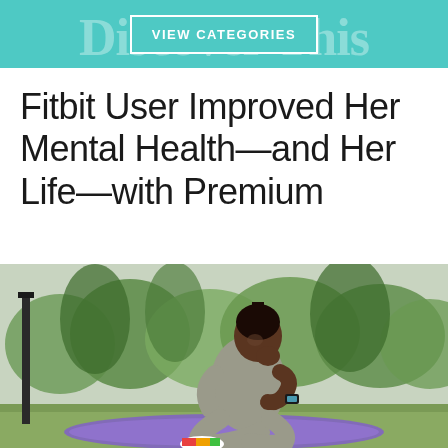VIEW CATEGORIES
Fitbit User Improved Her Mental Health—and Her Life—with Premium
[Figure (photo): A smiling woman in gray athletic wear sitting cross-legged on a purple yoga mat outdoors in a park, with trees and green shrubbery in the background. She is wearing a Fitbit smartwatch and rainbow sneakers, with her hand resting under her chin in a thoughtful pose.]